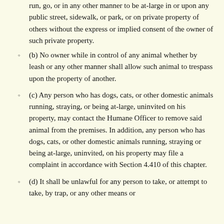run, go, or in any other manner to be at-large in or upon any public street, sidewalk, or park, or on private property of others without the express or implied consent of the owner of such private property.
(b) No owner while in control of any animal whether by leash or any other manner shall allow such animal to trespass upon the property of another.
(c) Any person who has dogs, cats, or other domestic animals running, straying, or being at-large, uninvited on his property, may contact the Humane Officer to remove said animal from the premises. In addition, any person who has dogs, cats, or other domestic animals running, straying or being at-large, uninvited, on his property may file a complaint in accordance with Section 4.410 of this chapter.
(d) It shall be unlawful for any person to take, or attempt to take, by trap, or any other means or...